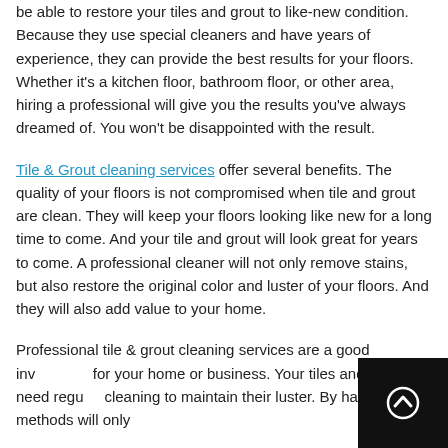be able to restore your tiles and grout to like-new condition. Because they use special cleaners and have years of experience, they can provide the best results for your floors. Whether it's a kitchen floor, bathroom floor, or other area, hiring a professional will give you the results you've always dreamed of. You won't be disappointed with the result.
Tile & Grout cleaning services offer several benefits. The quality of your floors is not compromised when tile and grout are clean. They will keep your floors looking like new for a long time to come. And your tile and grout will look great for years to come. A professional cleaner will not only remove stains, but also restore the original color and luster of your floors. And they will also add value to your home.
Professional tile & grout cleaning services are a good investment for your home or business. Your tiles and grout need regular cleaning to maintain their luster. By hand methods will only